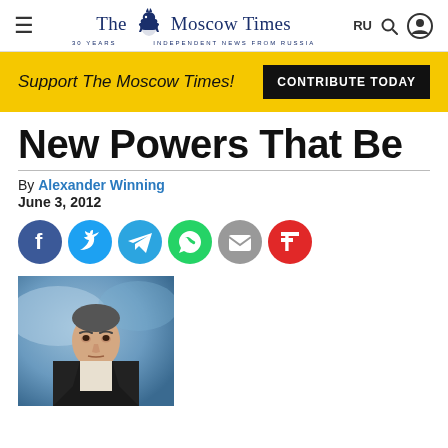The Moscow Times — 30 Years Independent News From Russia
Support The Moscow Times!
CONTRIBUTE TODAY
New Powers That Be
By Alexander Winning
June 3, 2012
[Figure (photo): Portrait photo of Vladimir Putin in dark suit and tie against a blurred blue background]
[Figure (infographic): Social share buttons row: Facebook, Twitter, Telegram, WhatsApp, Email, Flipboard]